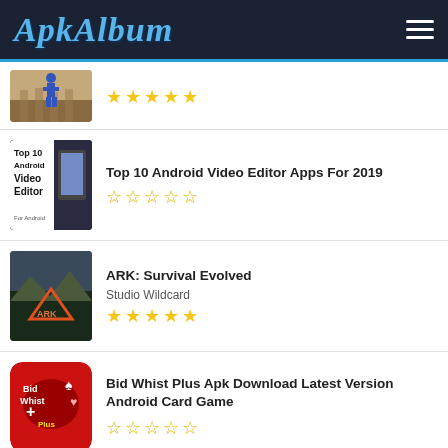[Figure (screenshot): ApkAlbum website header with logo and hamburger menu]
[Figure (screenshot): Partial app entry with person walking on bridge thumbnail and 5 filled stars]
Top 10 Android Video Editor Apps For 2019
[Figure (screenshot): Top 10 Android Video Editor thumbnail showing book and phone]
ARK: Survival Evolved
Studio Wildcard
[Figure (screenshot): ARK Survival Evolved game thumbnail with ARK logo]
Bid Whist Plus Apk Download Latest Version Android Card Game
[Figure (screenshot): Bid Whist Plus red app icon]
Vidmate Apk Download Latest Version Video Downloader App
[Figure (screenshot): Vidmate orange app icon with V logo]